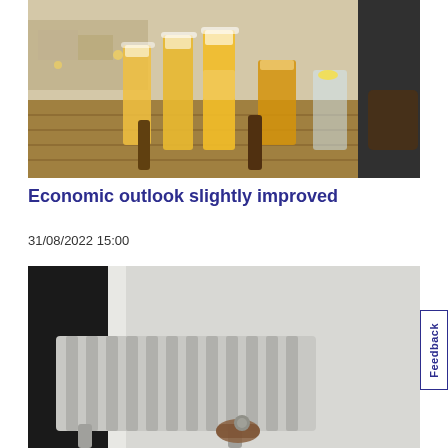[Figure (photo): Person carrying multiple beer glasses on a tray at an outdoor terrace bar]
Economic outlook slightly improved
31/08/2022 15:00
[Figure (photo): Close-up of a radiator heating unit near a window with a hand adjusting it]
Feedback